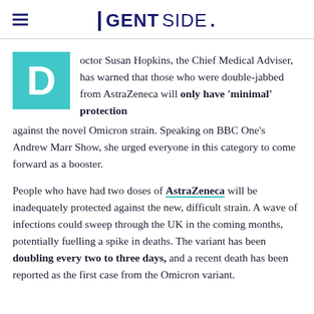GENTSIDE.
Doctor Susan Hopkins, the Chief Medical Adviser, has warned that those who were double-jabbed from AstraZeneca will only have 'minimal' protection against the novel Omicron strain. Speaking on BBC One's Andrew Marr Show, she urged everyone in this category to come forward as a booster.
People who have had two doses of AstraZeneca will be inadequately protected against the new, difficult strain. A wave of infections could sweep through the UK in the coming months, potentially fuelling a spike in deaths. The variant has been doubling every two to three days, and a recent death has been reported as the first case from the Omicron variant.